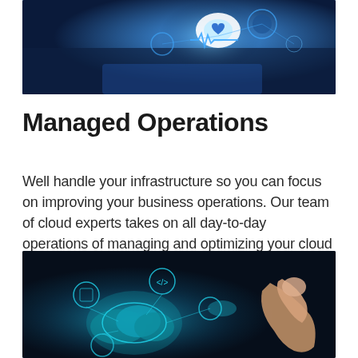[Figure (photo): Person holding a tablet with blue digital medical/health interface icons floating above it, including heart rate monitor symbols and health icons glowing in blue]
Managed Operations
Well handle your infrastructure so you can focus on improving your business operations. Our team of cloud experts takes on all day-to-day operations of managing and optimizing your cloud environment with total visibility into the entire process.
[Figure (photo): Dark blue technology background showing a hand touching a glowing cloud computing network diagram with connected nodes and circuit-like elements in teal/cyan colors]